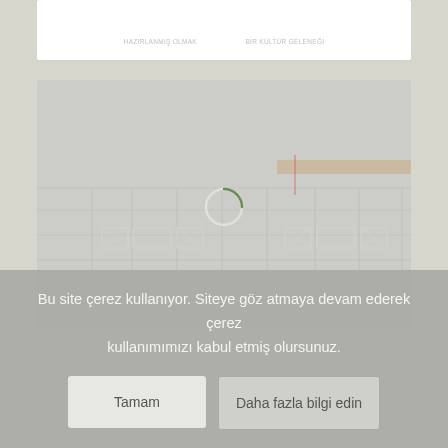[Figure (screenshot): Screenshot of an architectural/engineering website showing a building elevation drawing with a loading spinner in the center. The page background is a muted olive-gray color. The upper portion shows a white card area with faint text. The main content area shows a faded architectural floor plan or elevation drawing.]
Bu site çerez kullanıyor. Siteye göz atmaya devam ederek çerez kullanımımızı kabul etmiş olursunuz.
Tamam
Daha fazla bilgi edin